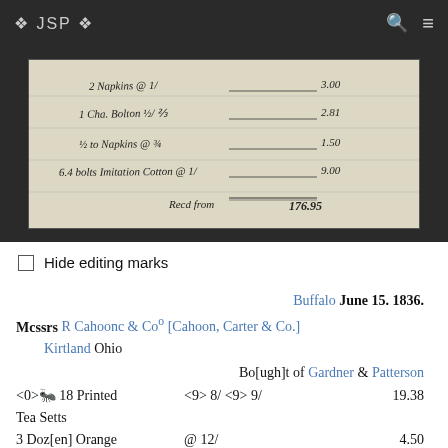❖ JSP ❖
[Figure (photo): Scanned handwritten manuscript document showing several lines of cursive text with numbers on the right side, appearing to be an old ledger or receipt.]
☐ Hide editing marks
Buffalo June 15. 1836.
Mcssrs R Cahoonc & Co [Cahoon, Carter & Co.]; Kirtland Ohio
Bo[ugh]t of Gardner & Patterson
<0> 18 Printed    <9> 8/ <9> 9/    19.38
Tea Setts
3 Doz[en] Orange    @ 12/    4.50
lander Blu